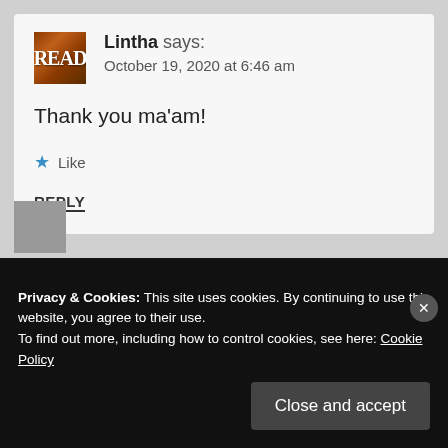[Figure (illustration): Avatar/profile image showing a book cover with 'READ' text in reddish-brown tones]
Lintha says:
October 19, 2020 at 6:46 am
Thank you ma'am!
★ Like
REPLY
Privacy & Cookies: This site uses cookies. By continuing to use this website, you agree to their use.
To find out more, including how to control cookies, see here: Cookie Policy
Close and accept